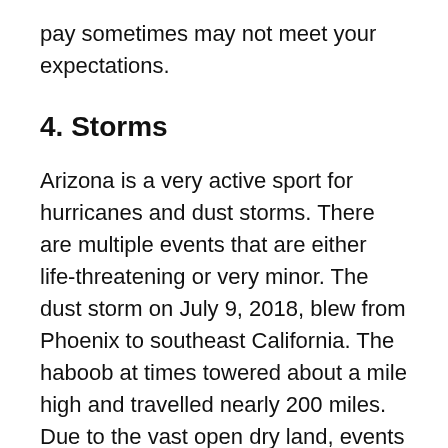pay sometimes may not meet your expectations.
4. Storms
Arizona is a very active sport for hurricanes and dust storms. There are multiple events that are either life-threatening or very minor. The dust storm on July 9, 2018, blew from Phoenix to southeast California. The haboob at times towered about a mile high and travelled nearly 200 miles. Due to the vast open dry land, events like these are very likely to occur again.